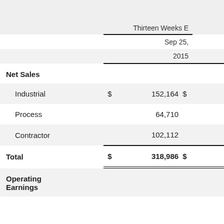|  | Thirteen Weeks E |  |
| --- | --- | --- |
|  | Sep 25, |  |
|  | 2015 |  |
| Net Sales |  |  |
| Industrial | $ 152,164 | $ |
| Process | 64,710 |  |
| Contractor | 102,112 |  |
| Total | $ 318,986 | $ |
| Operating Earnings |  |  |